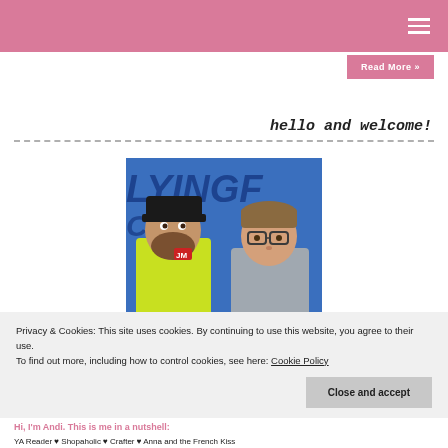Read More »
hello and welcome!
[Figure (photo): Two people posing in front of a blue wall with text. A bearded man in a yellow hoodie and black cap on the left, a woman with glasses on the right.]
Privacy & Cookies: This site uses cookies. By continuing to use this website, you agree to their use.
To find out more, including how to control cookies, see here: Cookie Policy
Close and accept
Hi, I'm Andi. This is me in a nutshell:
YA Reader ♥ Shopaholic ♥ Crafter ♥ Anna and the French Kiss